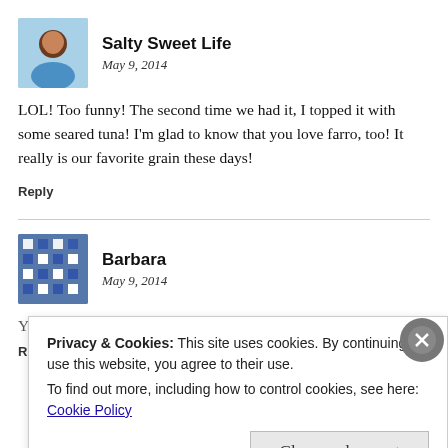[Figure (photo): Profile photo of Salty Sweet Life – a woman smiling, wearing a blue top]
Salty Sweet Life
May 9, 2014
LOL! Too funny! The second time we had it, I topped it with some seared tuna! I'm glad to know that you love farro, too! It really is our favorite grain these days!
Reply
[Figure (logo): Avatar for Barbara – blue and white geometric/grid pattern]
Barbara
May 9, 2014
Your salad looks so fresh and tasty! Thanks for sharing such a
R
Privacy & Cookies: This site uses cookies. By continuing to use this website, you agree to their use.
To find out more, including how to control cookies, see here:
Cookie Policy
Close and accept